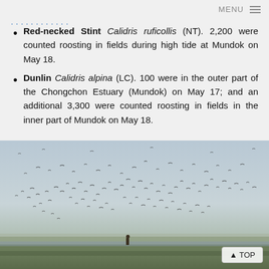MENU
Red-necked Stint Calidris ruficollis (NT). 2,200 were counted roosting in fields during high tide at Mundok on May 18.
Dunlin Calidris alpina (LC). 100 were in the outer part of the Chongchon Estuary (Mundok) on May 17; and an additional 3,300 were counted roosting in fields in the inner part of Mundok on May 18.
[Figure (photo): A large flock of shorebirds (likely Dunlin or Red-necked Stint) in flight over a coastal estuary/field landscape, with a misty grey sky background. Dense swarm of birds fills most of the frame. Flat wetland terrain visible in the lower portion.]